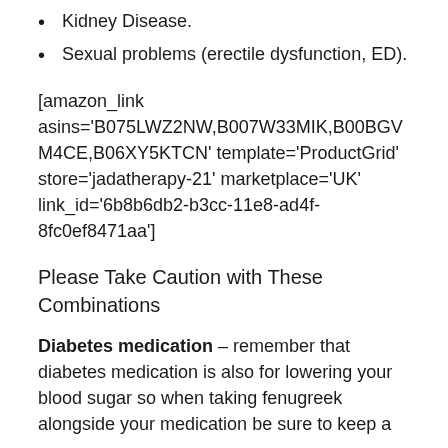Kidney Disease.
Sexual problems (erectile dysfunction, ED).
[amazon_link asins='B075LWZ2NW,B007W33MIK,B00BGVM4CE,B06XY5KTCN' template='ProductGrid' store='jadatherapy-21' marketplace='UK' link_id='6b8b6db2-b3cc-11e8-ad4f-8fc0ef8471aa']
Please Take Caution with These Combinations
Diabetes medication – remember that diabetes medication is also for lowering your blood sugar so when taking fenugreek alongside your medication be sure to keep a close eye on how it may add to the...